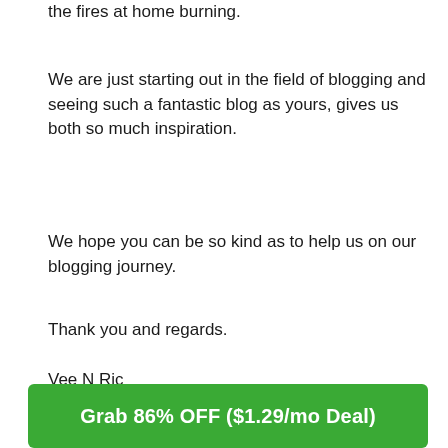the fires at home burning.
We are just starting out in the field of blogging and seeing such a fantastic blog as yours, gives us both so much inspiration.
We hope you can be so kind as to help us on our blogging journey.
Thank you and regards.
Vee N Ric
Reply
Grab 86% OFF ($1.29/mo Deal)